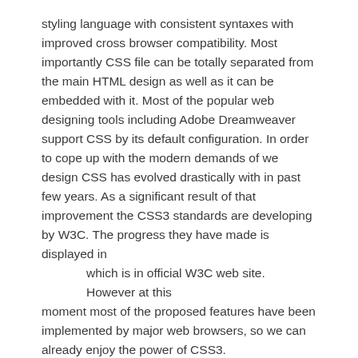styling language with consistent syntaxes with improved cross browser compatibility. Most importantly CSS file can be totally separated from the main HTML design as well as it can be embedded with it. Most of the popular web designing tools including Adobe Dreamweaver support CSS by its default configuration. In order to cope up with the modern demands of we design CSS has evolved drastically with in past few years. As a significant result of that improvement the CSS3 standards are developing by W3C. The progress they have made is displayed in which is in official W3C web site. However at this moment most of the proposed features have been implemented by major web browsers, so we can already enjoy the power of CSS3.
HISTORY
CSS1